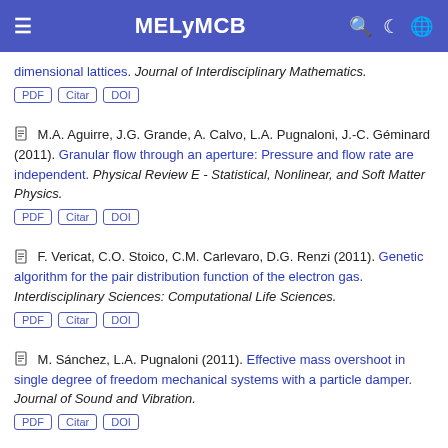MELyMCB
dimensional lattices. Journal of Interdisciplinary Mathematics.
PDF Citar DOI
M.A. Aguirre, J.G. Grande, A. Calvo, L.A. Pugnaloni, J.-C. Géminard (2011). Granular flow through an aperture: Pressure and flow rate are independent. Physical Review E - Statistical, Nonlinear, and Soft Matter Physics.
PDF Citar DOI
F. Vericat, C.O. Stoico, C.M. Carlevaro, D.G. Renzi (2011). Genetic algorithm for the pair distribution function of the electron gas. Interdisciplinary Sciences: Computational Life Sciences.
PDF Citar DOI
M. Sánchez, L.A. Pugnaloni (2011). Effective mass overshoot in single degree of freedom mechanical systems with a particle damper. Journal of Sound and Vibration.